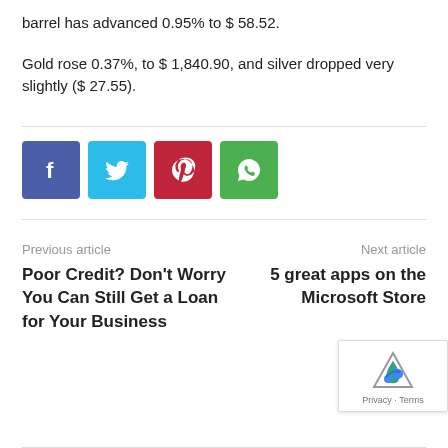barrel has advanced 0.95% to $ 58.52.
Gold rose 0.37%, to $ 1,840.90, and silver dropped very slightly ($ 27.55).
[Figure (other): Social media share buttons: Facebook, Twitter, Pinterest, WhatsApp]
Previous article
Next article
Poor Credit? Don't Worry You Can Still Get a Loan for Your Business
5 great apps on the Microsoft Store